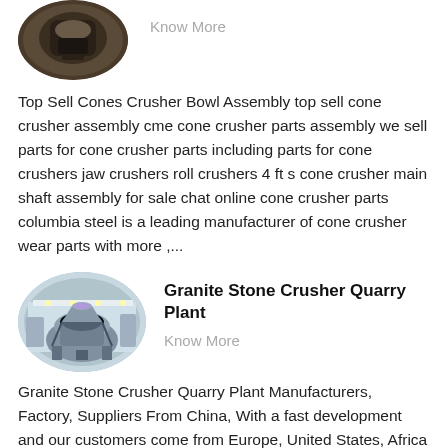[Figure (photo): Circular thumbnail image of a cone crusher machine, dark brown/grey tones, top portion visible]
Know More
Top Sell Cones Crusher Bowl Assembly top sell cone crusher assembly cme cone crusher parts assembly we sell parts for cone crusher parts including parts for cone crushers jaw crushers roll crushers 4 ft s cone crusher main shaft assembly for sale chat online cone crusher parts columbia steel is a leading manufacturer of cone crusher wear parts with more ,...
[Figure (photo): Oval/elliptical image of a large granite stone crusher quarry plant machine in an industrial facility, blue and grey tones]
Granite Stone Crusher Quarry Plant
Know More
Granite Stone Crusher Quarry Plant Manufacturers, Factory, Suppliers From China, With a fast development and our customers come from Europe, United States, Africa and all over the ,...